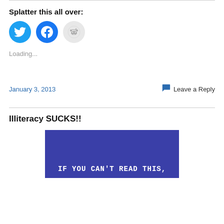Splatter this all over:
[Figure (illustration): Three social sharing buttons: Twitter (blue bird icon), Facebook (blue f icon), Reddit (light gray alien icon)]
Loading...
January 3, 2013
Leave a Reply
Illiteracy SUCKS!!
[Figure (photo): Blue image with white bold text reading: IF YOU CAN'T READ THIS,]